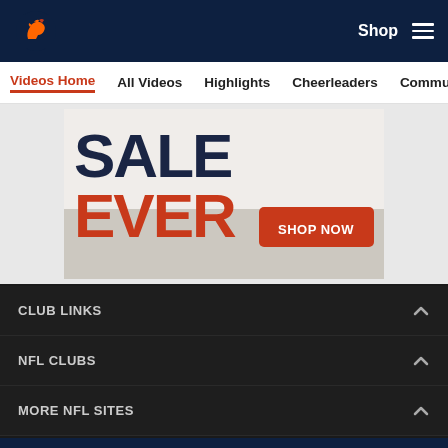Denver Broncos - Shop | Menu
Videos Home | All Videos | Highlights | Cheerleaders | Community
[Figure (photo): Advertisement banner showing 'SALE EVER' text in dark blue and red with a 'SHOP NOW' red button]
CLUB LINKS
NFL CLUBS
MORE NFL SITES
Download apps
[Figure (logo): Download on the App Store button]
[Figure (logo): Get it on Google Play button]